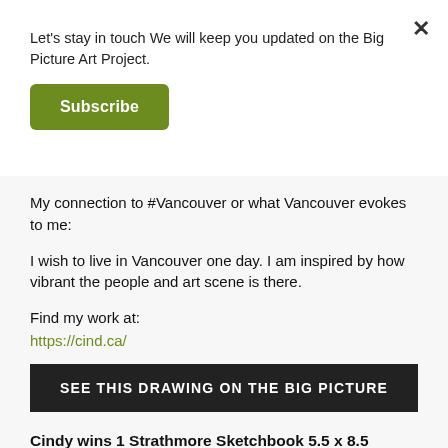Let's stay in touch We will keep you updated on the Big Picture Art Project.
Subscribe
My connection to #Vancouver or what Vancouver evokes to me:
I wish to live in Vancouver one day. I am inspired by how vibrant the people and art scene is there.
Find my work at:
https://cind.ca/
SEE THIS DRAWING ON THE BIG PICTURE
Cindy wins 1 Strathmore Sketchbook 5.5 x 8.5 inches